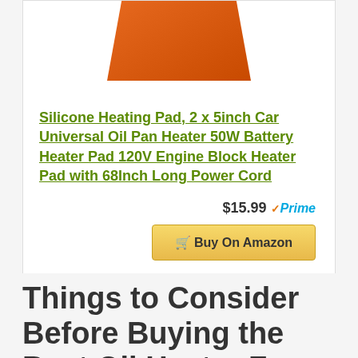[Figure (photo): Orange silicone heating pad shown at an angle, partially cropped at top]
Silicone Heating Pad, 2 x 5inch Car Universal Oil Pan Heater 50W Battery Heater Pad 120V Engine Block Heater Pad with 68Inch Long Power Cord
$15.99 ✓Prime
🛒 Buy On Amazon
Things to Consider Before Buying the Best Oil Heater For